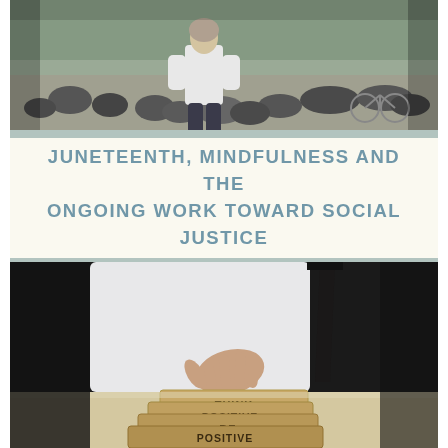[Figure (photo): Black and white photo of a crowd of people sitting outdoors at what appears to be a social gathering or protest, with a person standing and facing away from the camera in the foreground]
JUNETEENTH, MINDFULNESS AND THE ONGOING WORK TOWARD SOCIAL JUSTICE
[Figure (photo): Color photo of a person in a white dress shirt and dark tie placing wooden block tiles stacked to read THINK POSITIVE / BE POSITIVE on a table]